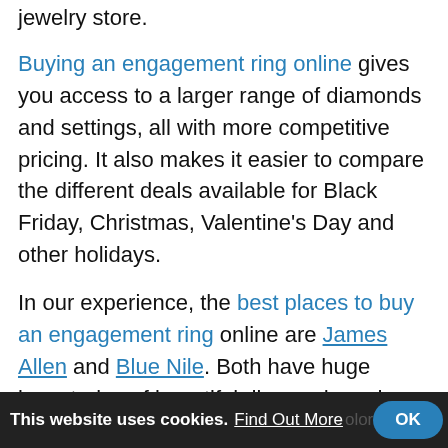jewelry store.
Buying an engagement ring online gives you access to a larger range of diamonds and settings, all with more competitive pricing. It also makes it easier to compare the different deals available for Black Friday, Christmas, Valentine's Day and other holidays.
In our experience, the best places to buy an engagement ring online are James Allen and Blue Nile. Both have huge inventories of beautiful diamonds and settings at industry-leading princes, all with generous return and ring resizing policies.
For exceptionally well-cut diamonds, we also recommend Brian Gavin Diamonds, Leibish & Co. are also a fantastic option for fancy color
This website uses cookies. Find Out More   OK